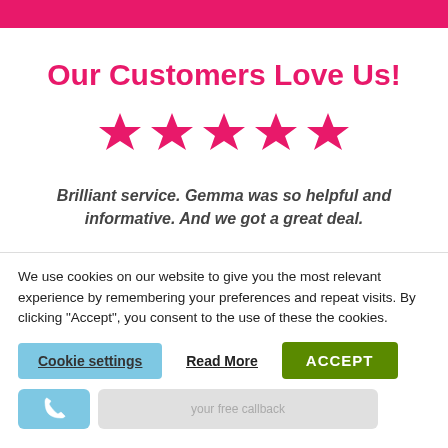Our Customers Love Us!
[Figure (other): Five pink star rating icons]
Brilliant service. Gemma was so helpful and informative. And we got a great deal.
We use cookies on our website to give you the most relevant experience by remembering your preferences and repeat visits. By clicking "Accept", you consent to the use of these the cookies.
Cookie settings   Read More   ACCEPT